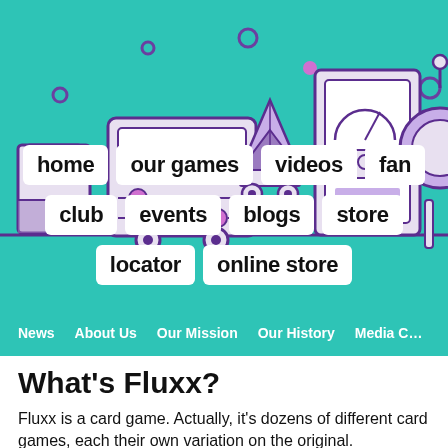[Figure (illustration): Teal/turquoise hero banner with purple and white outlined science/game themed icons: beaker, equalizer/audio device on wheels, pyramid diamond shape, vending machine/arcade cabinet, robot arm. Decorative circles scattered around.]
home | our games | videos | fan club | events | blogs | store | locator | online store
News   About Us   Our Mission   Our History   Media C...
What's Fluxx?
Fluxx is a card game. Actually, it's dozens of different card games, each their own variation on the original.